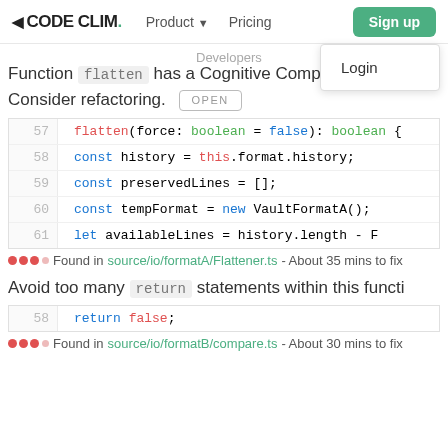CODE CLIM. | Product | Pricing | Sign up | Login | Developers
Function flatten has a Cognitive Complexity of 7 (e
Consider refactoring. [OPEN]
[Figure (screenshot): Code snippet showing lines 57-61 of flatten function]
Found in source/io/formatA/Flattener.ts - About 35 mins to fix
Avoid too many return statements within this functi
[Figure (screenshot): Code snippet showing line 58 with return false]
Found in source/io/formatB/compare.ts - About 30 mins to fix